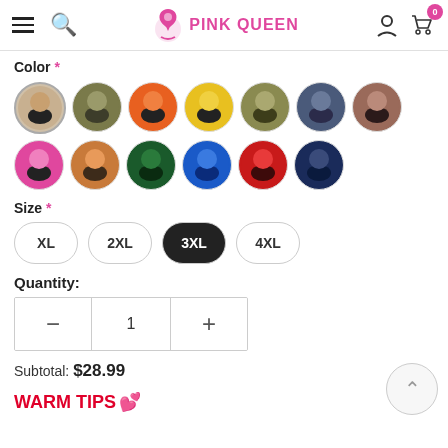PINK QUEEN
Color *
[Figure (other): 13 circular color/product swatches for swimsuit color selection; first swatch is selected (highlighted border). Colors include: black/nude, olive, orange, yellow, camo, navy/grey, brown, pink, rust, dark green, blue, red, navy floral.]
Size *
XL  2XL  3XL  4XL — size buttons, 3XL selected (filled black)
Quantity:
1
Subtotal:  $28.99
WARM TIPS 💗